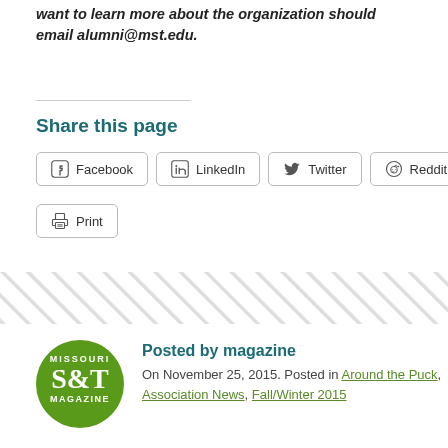want to learn more about the organization should email alumni@mst.edu.
Share this page
Facebook LinkedIn Twitter Reddit Print
[Figure (logo): Missouri S&T Magazine circular green logo]
Posted by magazine
On November 25, 2015. Posted in Around the Puck, Association News, Fall/Winter 2015